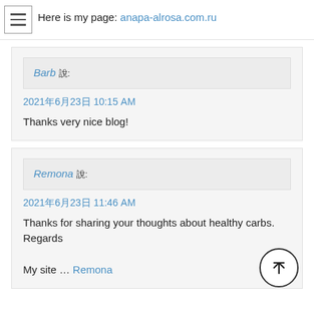Here is my page: anapa-alrosa.com.ru
Barb 說:
2021年6月23日 10:15 AM
Thanks very nice blog!
Remona 說:
2021年6月23日 11:46 AM
Thanks for sharing your thoughts about healthy carbs.
Regards

My site … Remona